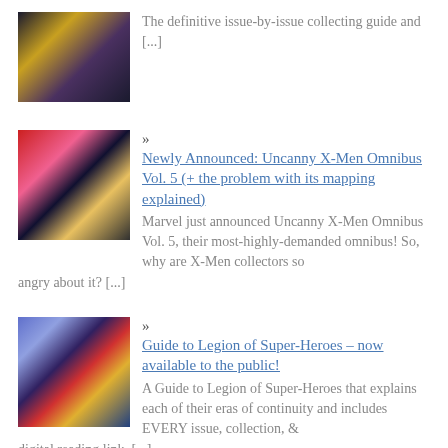[Figure (illustration): Comic book character image - superhero in yellow and purple costume]
The definitive issue-by-issue collecting guide and [...]
[Figure (illustration): Comic book character image - white-haired character with red and pink background]
» Newly Announced: Uncanny X-Men Omnibus Vol. 5 (+ the problem with its mapping explained)
Marvel just announced Uncanny X-Men Omnibus Vol. 5, their most-highly-demanded omnibus! So, why are X-Men collectors so angry about it? [...]
[Figure (illustration): Comic book group image - Legion of Super-Heroes team]
» Guide to Legion of Super-Heroes – now available to the public!
A Guide to Legion of Super-Heroes that explains each of their eras of continuity and includes EVERY issue, collection, & digital reading link. [...]